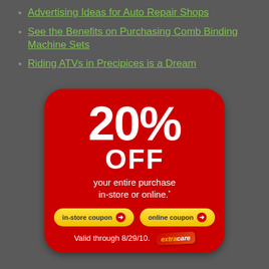Advertising Ideas for Auto Repair Shops
See the Benefits on Purchasing Comb Binding Machine Sets
Riding ATVs in Precipices is a Dream
[Figure (infographic): CVS/pharmacy 20% OFF coupon — your entire purchase in-store or online. Valid through 8/29/10. Has two yellow buttons: in-store coupon and online coupon. ExtraCare card shown.]